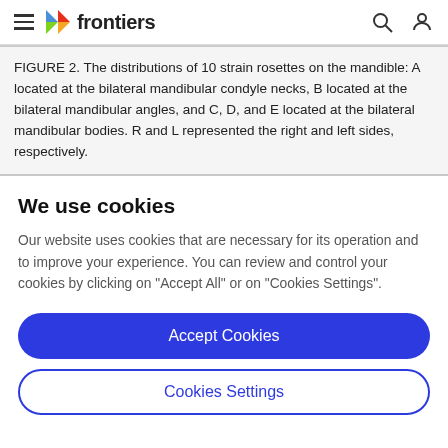frontiers
FIGURE 2. The distributions of 10 strain rosettes on the mandible: A located at the bilateral mandibular condyle necks, B located at the bilateral mandibular angles, and C, D, and E located at the bilateral mandibular bodies. R and L represented the right and left sides, respectively.
We use cookies
Our website uses cookies that are necessary for its operation and to improve your experience. You can review and control your cookies by clicking on "Accept All" or on "Cookies Settings".
Accept Cookies
Cookies Settings